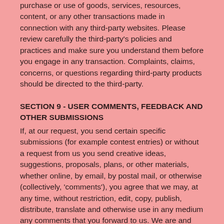purchase or use of goods, services, resources, content, or any other transactions made in connection with any third-party websites. Please review carefully the third-party's policies and practices and make sure you understand them before you engage in any transaction. Complaints, claims, concerns, or questions regarding third-party products should be directed to the third-party.
SECTION 9 - USER COMMENTS, FEEDBACK AND OTHER SUBMISSIONS
If, at our request, you send certain specific submissions (for example contest entries) or without a request from us you send creative ideas, suggestions, proposals, plans, or other materials, whether online, by email, by postal mail, or otherwise (collectively, 'comments'), you agree that we may, at any time, without restriction, edit, copy, publish, distribute, translate and otherwise use in any medium any comments that you forward to us. We are and shall be under no obligation (1) to maintain any comments in confidence; (2) to pay compensation for